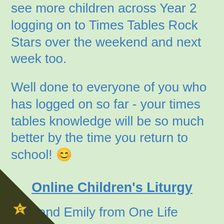see more children across Year 2 logging on to Times Tables Rock Stars over the weekend and next week too.
Well done to everyone of you who has logged on so far - your times tables knowledge will be so much better by the time you return to school! 😀
Online Children's Liturgy
Dan and Emily from One Life Music, who regular visitors to Christ the King School,